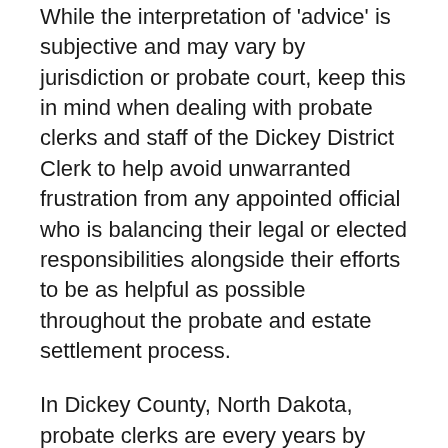While the interpretation of 'advice' is subjective and may vary by jurisdiction or probate court, keep this in mind when dealing with probate clerks and staff of the Dickey District Clerk to help avoid unwarranted frustration from any appointed official who is balancing their legal or elected responsibilities alongside their efforts to be as helpful as possible throughout the probate and estate settlement process.
In Dickey County, North Dakota, probate clerks are every years by and serve year terms. Probate clerks can typically be without a gap in service. Within Dickey County, North Dakota, probate clerks false have judicial powers, meaning they false also serve in the same capacity as a probate judge.
About probate judges in